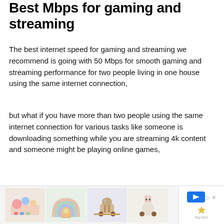Best Mbps for gaming and streaming
The best internet speed for gaming and streaming we recommend is going with 50 Mbps for smooth gaming and streaming performance for two people living in one house using the same internet connection,
but what if you have more than two people using the same internet connection for various tasks like someone is downloading something while you are streaming 4k content and someone might be playing online games,
then just simply refer to the table below in order to get an idea about how much speed you need for oth
[Figure (other): Advertisement banner with toy product images and a blue play button logo for Tiny Land brand]